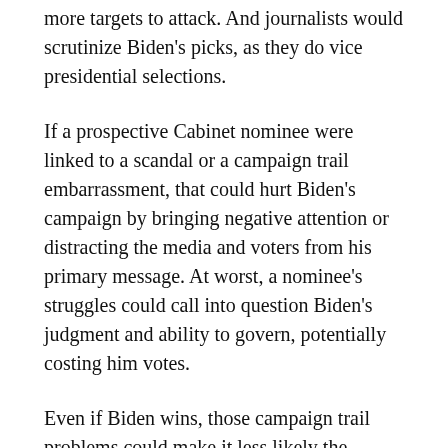more targets to attack. And journalists would scrutinize Biden's picks, as they do vice presidential selections.
If a prospective Cabinet nominee were linked to a scandal or a campaign trail embarrassment, that could hurt Biden's campaign by bringing negative attention or distracting the media and voters from his primary message. At worst, a nominee's struggles could call into question Biden's judgment and ability to govern, potentially costing him votes.
Even if Biden wins, those campaign trail problems could make it less likely the Senate would later confirm the nominee to serve in the Cabinet.
In the short term, Biden's surprise announcement that he might name Cabinet selections before November's election has won him some welcome media coverage amid the coronavirus pandemic.